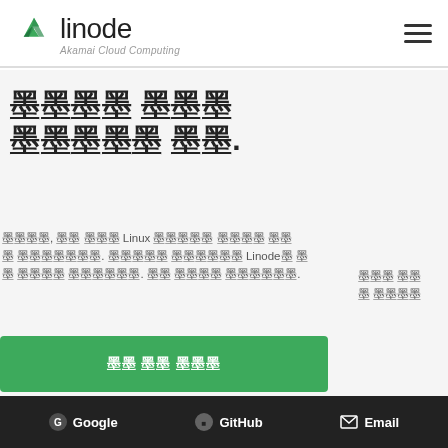linode — Akamai Cloud Computing
[Unicode placeholder blocks] [Unicode placeholder blocks] [Unicode placeholder blocks] [Unicode placeholder blocks].
[Unicode placeholder text] Linux [Unicode placeholder text] Linode [Unicode placeholder text].
[Unicode placeholder text]
[Figure (other): Green call-to-action button with placeholder text]
Google   GitHub   Email